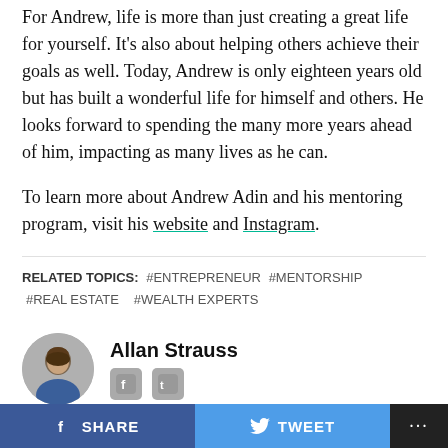For Andrew, life is more than just creating a great life for yourself. It's also about helping others achieve their goals as well. Today, Andrew is only eighteen years old but has built a wonderful life for himself and others. He looks forward to spending the many more years ahead of him, impacting as many lives as he can.
To learn more about Andrew Adin and his mentoring program, visit his website and Instagram.
RELATED TOPICS: #ENTREPRENEUR #MENTORSHIP #REAL ESTATE #WEALTH EXPERTS
[Figure (photo): Circular headshot photo of Allan Strauss]
Allan Strauss
Allan Strauss has a proven track record of editing and formatting content for newspapers, magazines or any other publishing
SHARE   TWEET   ...